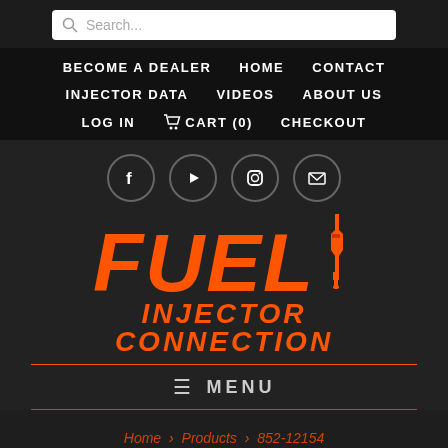[Figure (screenshot): Website screenshot of Fuel Injector Connection. Contains search bar, navigation menu with links BECOME A DEALER, HOME, CONTACT, INJECTOR DATA, VIDEOS, ABOUT US, LOG IN, CART (0), CHECKOUT, social media icons (Facebook, YouTube, Instagram, Email), the Fuel Injector Connection logo in orange on dark background, a hamburger MENU bar, and breadcrumb navigation: Home > Products > 852-12154.]
Search...
BECOME A DEALER   HOME   CONTACT
INJECTOR DATA   VIDEOS   ABOUT US
LOG IN   CART (0)   CHECKOUT
FUEL INJECTOR CONNECTION
≡ MENU
Home > Products > 852-12154